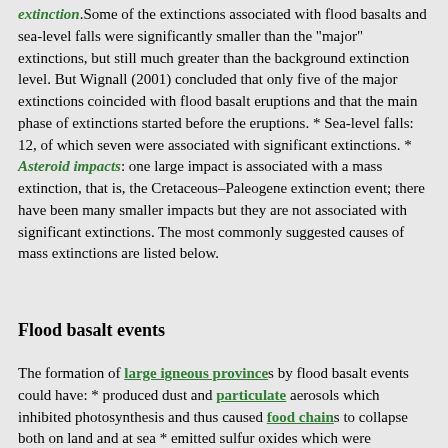extinction. Some of the extinctions associated with flood basalts and sea-level falls were significantly smaller than the "major" extinctions, but still much greater than the background extinction level. But Wignall (2001) concluded that only five of the major extinctions coincided with flood basalt eruptions and that the main phase of extinctions started before the eruptions. * Sea-level falls: 12, of which seven were associated with significant extinctions. * Asteroid impacts: one large impact is associated with a mass extinction, that is, the Cretaceous–Paleogene extinction event; there have been many smaller impacts but they are not associated with significant extinctions. The most commonly suggested causes of mass extinctions are listed below.
Flood basalt events
The formation of large igneous provinces by flood basalt events could have: * produced dust and particulate aerosols which inhibited photosynthesis and thus caused food chains to collapse both on land and at sea * emitted sulfur oxides which were precipitated as